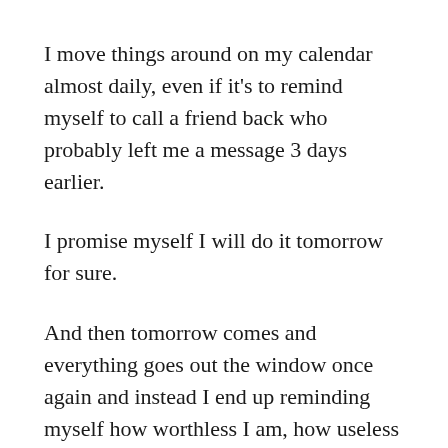I move things around on my calendar almost daily, even if it's to remind myself to call a friend back who probably left me a message 3 days earlier.
I promise myself I will do it tomorrow for sure.
And then tomorrow comes and everything goes out the window once again and instead I end up reminding myself how worthless I am, how useless I am, how burdensome I am and how much better off everyone would be without me.
Today there are no scenic  #summerofrich